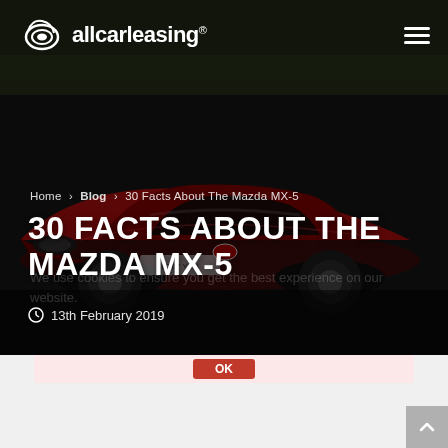[Figure (photo): Hero image of a red Mazda MX-5 sports car on a dark background with allcarleasing logo and hamburger menu in top bar]
allcarleasing®
Home > Blog > 30 Facts About The Mazda MX-5
30 FACTS ABOUT THE MAZDA MX-5
13th February 2019
OK
Share  Tweet  Share  Pin It